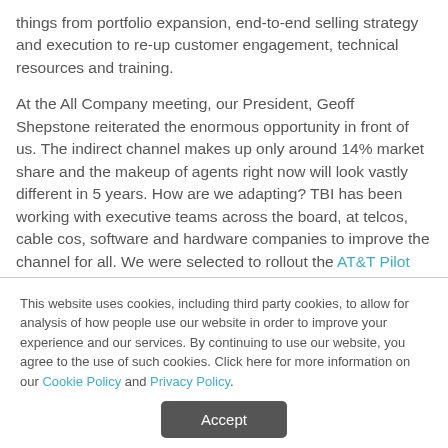things from portfolio expansion, end-to-end selling strategy and execution to re-up customer engagement, technical resources and training.
At the All Company meeting, our President, Geoff Shepstone reiterated the enormous opportunity in front of us. The indirect channel makes up only around 14% market share and the makeup of agents right now will look vastly different in 5 years. How are we adapting? TBI has been working with executive teams across the board, at telcos, cable cos, software and hardware companies to improve the channel for all. We were selected to rollout the AT&T Pilot which provides
This website uses cookies, including third party cookies, to allow for analysis of how people use our website in order to improve your experience and our services. By continuing to use our website, you agree to the use of such cookies. Click here for more information on our Cookie Policy and Privacy Policy.